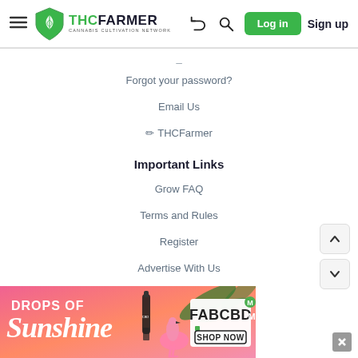THCFarmer - Cannabis Cultivation Network | Log in | Sign up
Forgot your password?
Email Us
✏ THCFarmer
Important Links
Grow FAQ
Terms and Rules
Register
Advertise With Us
[Figure (screenshot): Advertisement banner: DROPS OF Sunshine - FABCBD SHOP NOW, pink/coral gradient background with flamingo and CBD bottle imagery]